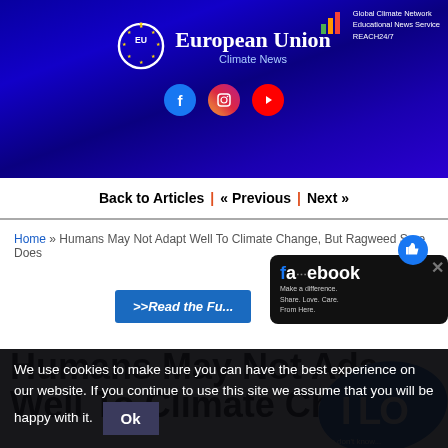[Figure (screenshot): European Union Climate News website header banner with blue gradient background, EU logo, site title, social media icons, and Global Climate Network badge]
Global Climate Network Educational News Service REACH24/7
Back to Articles | « Previous | Next »
Home » Humans May Not Adapt Well To Climate Change, But Ragweed Sure Does
>>Read the Fu...
Humans May Not Adapt Well To Climate Chan...
We use cookies to make sure you can have the best experience on our website. If you continue to use this site we assume that you will be happy with it.  Ok